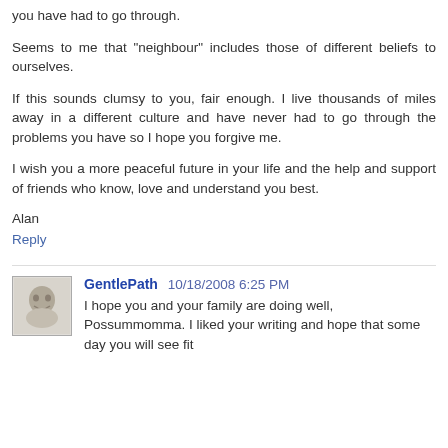you have had to go through.
Seems to me that "neighbour" includes those of different beliefs to ourselves.
If this sounds clumsy to you, fair enough. I live thousands of miles away in a different culture and have never had to go through the problems you have so I hope you forgive me.
I wish you a more peaceful future in your life and the help and support of friends who know, love and understand you best.
Alan
Reply
GentlePath 10/18/2008 6:25 PM
I hope you and your family are doing well, Possummomma. I liked your writing and hope that some day you will see fit